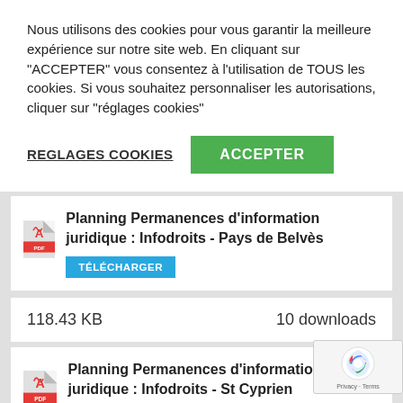Nous utilisons des cookies pour vous garantir la meilleure expérience sur notre site web. En cliquant sur "ACCEPTER" vous consentez à l'utilisation de TOUS les cookies. Si vous souhaitez personnaliser les autorisations, cliquer sur "réglages cookies"
REGLAGES COOKIES
ACCEPTER
Planning Permanences d'information juridique : Infodroits - Pays de Belvès
TÉLÉCHARGER
118.43 KB
10 downloads
Planning Permanences d'information juridique : Infodroits - St Cyprien